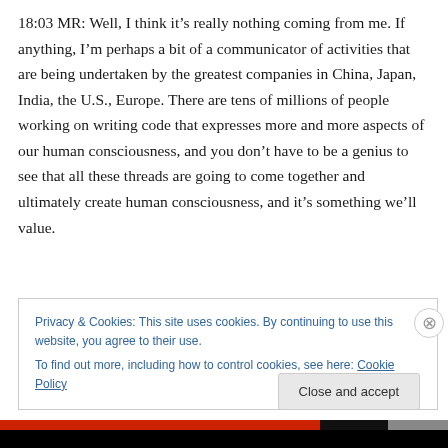18:03 MR: Well, I think it's really nothing coming from me. If anything, I'm perhaps a bit of a communicator of activities that are being undertaken by the greatest companies in China, Japan, India, the U.S., Europe. There are tens of millions of people working on writing code that expresses more and more aspects of our human consciousness, and you don't have to be a genius to see that all these threads are going to come together and ultimately create human consciousness, and it's something we'll value.
Privacy & Cookies: This site uses cookies. By continuing to use this website, you agree to their use.
To find out more, including how to control cookies, see here: Cookie Policy